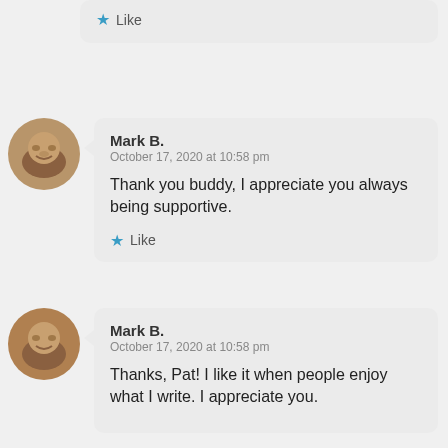Like
Mark B.
October 17, 2020 at 10:58 pm

Thank you buddy, I appreciate you always being supportive.

Like
Mark B.
October 17, 2020 at 10:58 pm

Thanks, Pat! I like it when people enjoy what I write. I appreciate you.